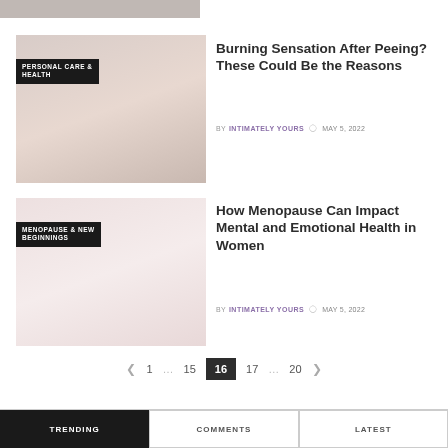[Figure (photo): Partial top image, cropped]
[Figure (photo): Article thumbnail with PERSONAL CARE & HEALTH label overlay]
Burning Sensation After Peeing? These Could Be the Reasons
BY INTIMATELY YOURS  MAY 5, 2022
[Figure (photo): Article thumbnail with MENOPAUSE & NEW BEGINNINGS label overlay]
How Menopause Can Impact Mental and Emotional Health in Women
BY INTIMATELY YOURS  MAY 5, 2022
< 1 … 15 16 17 … 20 >
TRENDING  COMMENTS  LATEST